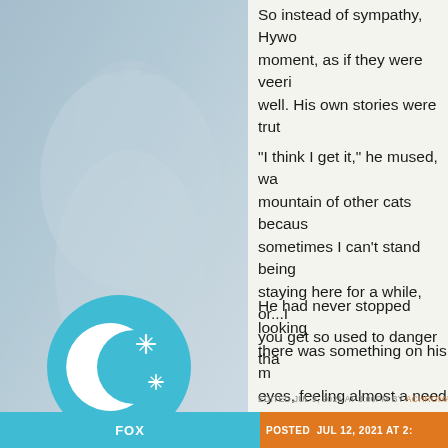[Figure (photo): Blueish-grey background photo of a cat on the left panel of the page]
So instead of sympathy, Hywo moment, as if they were veeri well. His own stories were trut
"I think I get it," he mused, wa mountain of other cats becaus sometimes I can't stand being staying here for a while, or...I you get so used to danger tha
He had never stopped looking there was something on his m eyes, feeling almost a need to were headed. A cottage, a sig
"So what's that?" he asked, ey "I thought all of SummerClan's
[Figure (illustration): Teal circle with white crescent moon and sparkle stars icon - user avatar]
EDITED JUL 9, 2021 AT 3:06PM BY ACHROMATE
FOX | POSTED JUL 12, 2021 AT 2: